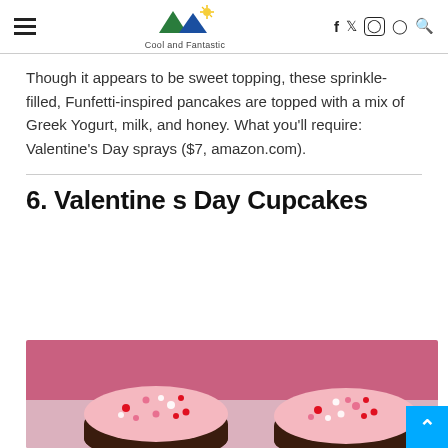Cool and Fantastic — navigation header with hamburger menu, logo, and social icons (f, twitter, instagram, pinterest, search)
Though it appears to be sweet topping, these sprinkle-filled, Funfetti-inspired pancakes are topped with a mix of Greek Yogurt, milk, and honey. What you'll require: Valentine's Day sprays ($7, amazon.com).
6. Valentine s Day Cupcakes
[Figure (photo): Close-up photo of Valentine's Day chocolate cupcakes topped with pink frosting and red, pink, and white sprinkle candies, on a pink background.]